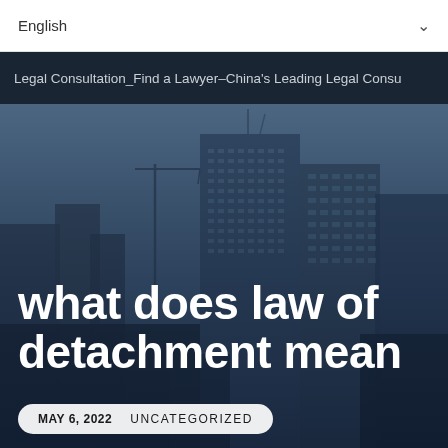English
Legal Consultation_Find a Lawyer–China's Leading Legal Consu
[Figure (photo): City skyline with tall skyscrapers against a blue-grey dusk sky, semi-dark overlay]
what does law of detachment mean
MAY 6, 2022    UNCATEGORIZED